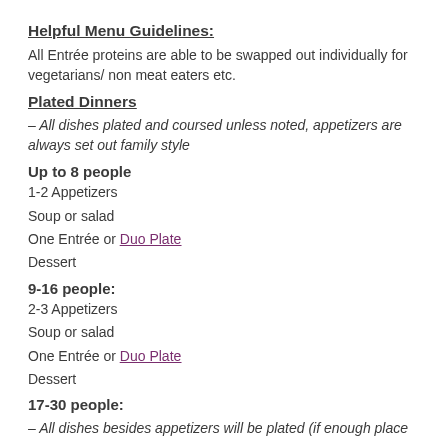Helpful Menu Guidelines:
All Entrée proteins are able to be swapped out individually for vegetarians/ non meat eaters etc.
Plated Dinners
– All dishes plated and coursed unless noted, appetizers are always set out family style
Up to 8 people
1-2 Appetizers
Soup or salad
One Entrée or Duo Plate
Dessert
9-16 people:
2-3 Appetizers
Soup or salad
One Entrée or Duo Plate
Dessert
17-30 people:
– All dishes besides appetizers will be plated (if enough place